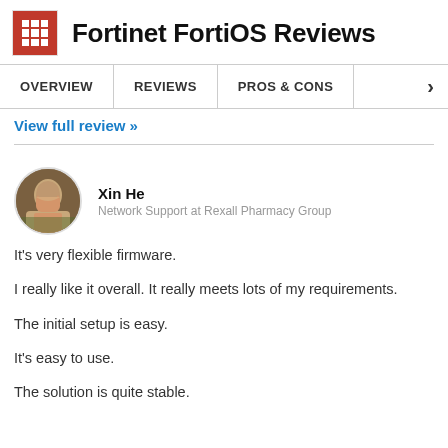Fortinet FortiOS Reviews
OVERVIEW | REVIEWS | PROS & CONS
View full review »
Xin He
Network Support at Rexall Pharmacy Group
It's very flexible firmware.
I really like it overall. It really meets lots of my requirements.
The initial setup is easy.
It's easy to use.
The solution is quite stable.